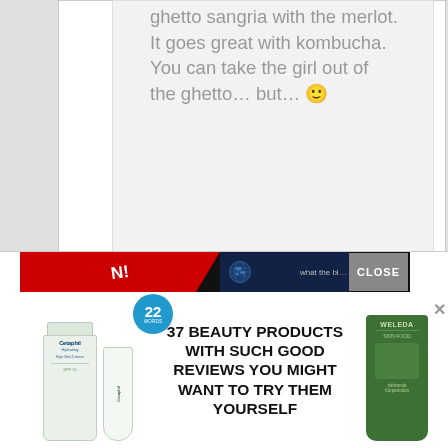ghetto sangria with the merlot. It goes great with kombucha. You can take the girl out of the ghetto… but… 🙂
[Figure (screenshot): Advertisement banner showing beauty products with text '37 BEAUTY PRODUCTS WITH SUCH GOOD REVIEWS YOU MIGHT WANT TO TRY THEM YOURSELF', a blue badge with '22', Cetaphil and Weleda products, a red ribbon with 'N!' text, a dark background banner with globe, and a CLOSE button.]